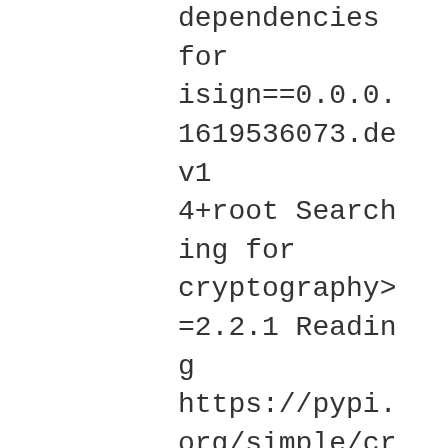dependencies for isign==0.0.0.1619536073.dev14+root Searching for cryptography>=2.2.1 Reading https://pypi.org/simple/cryptography/ Downloading https://files.pythonhosted.org/packages/9b/77/461087a514d2e8ece1c975d8216bc03f7048e6090c5166bc34115afdaa53/cryptography-3.4.7.tar.gz#sha256=3d10de8116d25649631977cb37da6cbdd2d6fa0e0281d014a5b7d337255ca713 Best match: cryptography 3.4.7 Processing cryptography-3.4.7.tar.gz Writing /tmp/easy_install-8EIEWQ/cryptography-